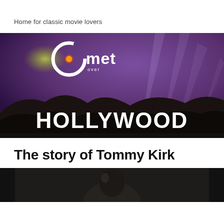Home for classic movie lovers
[Figure (illustration): Comet Over Hollywood logo banner with purple night sky, searchlights, silhouetted hills, and large HOLLYWOOD text in white block letters at bottom. The 'Comet' logo at top left features a stylized letter C with a glowing comet/circle and the word 'met' in white, with 'over' in small text beneath.]
The story of Tommy Kirk
[Figure (photo): Dark partial photo of a person, mostly obscured, shown at the bottom of the page.]